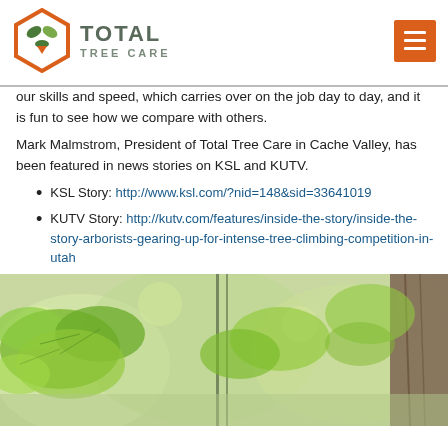Total Tree Care
our skills and speed, which carries over on the job day to day, and it is fun to see how we compare with others.
Mark Malmstrom, President of Total Tree Care in Cache Valley, has been featured in news stories on KSL and KUTV.
KSL Story: http://www.ksl.com/?nid=148&sid=33641019
KUTV Story: http://kutv.com/features/inside-the-story/inside-the-story-arborists-gearing-up-for-intense-tree-climbing-competition-in-utah
[Figure (photo): Close-up photo of green leafy tree branches with blurred background, showing tree foliage and a tree trunk on the right side.]